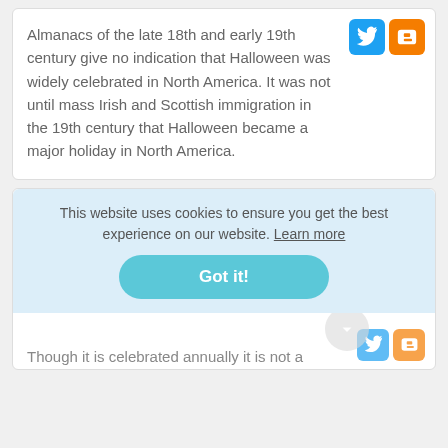Almanacs of the late 18th and early 19th century give no indication that Halloween was widely celebrated in North America. It was not until mass Irish and Scottish immigration in the 19th century that Halloween became a major holiday in North America.
This website uses cookies to ensure you get the best experience on our website. Learn more
How is Halloween celebrated in the UK?
Though it is celebrated annually it is not a